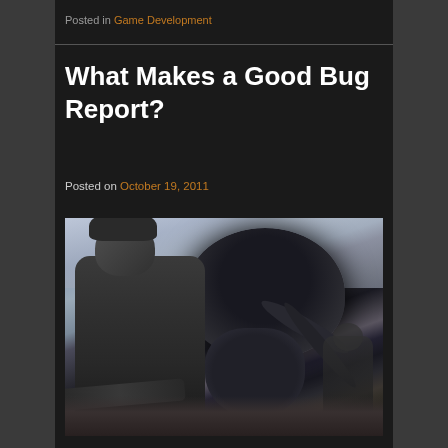Posted in Game Development
What Makes a Good Bug Report?
Posted on October 19, 2011
[Figure (photo): A soldier in combat gear holding a rifle in the foreground, with a large black alien bug creature looming behind him, and another soldier visible in the background right. Scene appears to be from a sci-fi movie (Starship Troopers).]